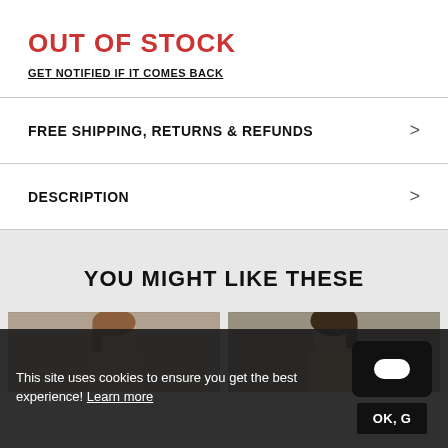OUT OF STOCK
GET NOTIFIED IF IT COMES BACK
FREE SHIPPING, RETURNS & REFUNDS
DESCRIPTION
YOU MIGHT LIKE THESE
[Figure (photo): Two product photos side by side showing female models wearing clothing items]
This site uses cookies to ensure you get the best experience! Learn more